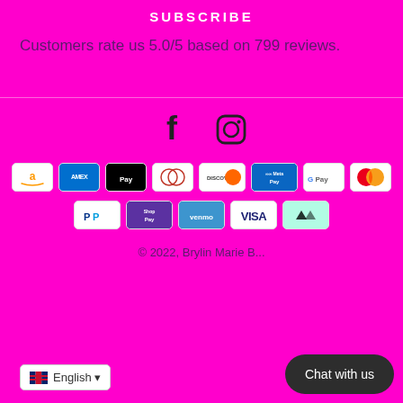SUBSCRIBE
Customers rate us 5.0/5 based on 799 reviews.
[Figure (other): Social media icons: Facebook and Instagram]
[Figure (other): Payment method badges: Amazon, Amex, Apple Pay, Diners Club, Discover, Meta Pay, Google Pay, Mastercard, PayPal, Shop Pay, Venmo, Visa, Afterpay]
© 2022, Brylin Marie B...
English